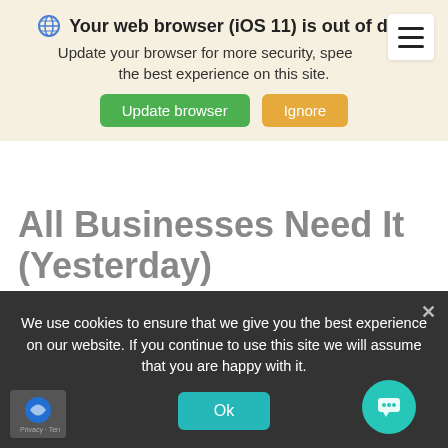Your web browser (iOS 11) is out of date. Update your browser for more security, speed and the best experience on this site. [Update browser] [Ignore]
All Businesses Need It (Yesterday)
Read time: 4 minutes
We use cookies to ensure that we give you the best experience on our website. If you continue to use this site we will assume that you are happy with it. [Ok]